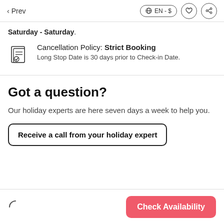< Prev   EN - $   ♡   share
Saturday - Saturday.
Cancellation Policy: Strict Booking
Long Stop Date is 30 days prior to Check-in Date.
Got a question?
Our holiday experts are here seven days a week to help you.
Receive a call from your holiday expert
Check Availability